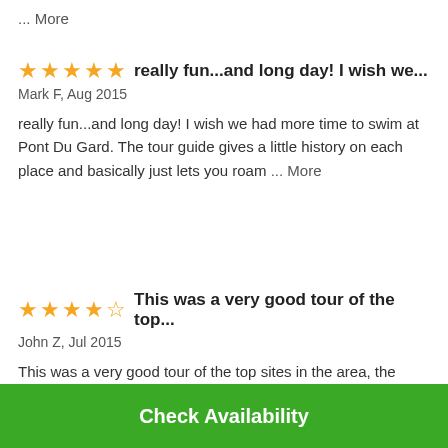... More
really fun...and long day! I wish we...
Mark F, Aug 2015
really fun...and long day! I wish we had more time to swim at Pont Du Gard. The tour guide gives a little history on each place and basically just lets you roam ... More
This was a very good tour of the top...
John Z, Jul 2015
This was a very good tour of the top sites in the area, the
Check Availability